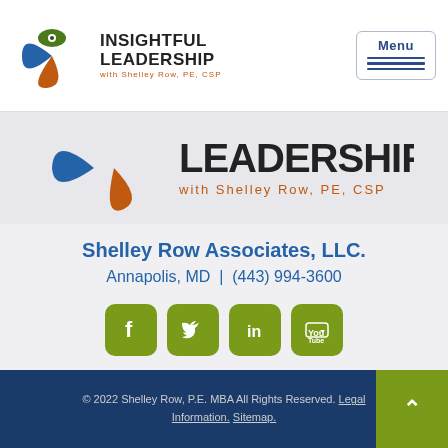[Figure (logo): Insightful Leadership with Shelley Row, PE, CSP logo - circular emblem with blue, orange, green leaf shapes and eye, alongside bold text INSIGHTFUL LEADERSHIP with Shelley Row, PE, CSP]
[Figure (logo): Partial Insightful Leadership banner logo showing blue and orange leaf shapes and LEADERSHIP with Shelley Row, PE, CSP text]
Shelley Row Associates, LLC.
Annapolis, MD | (443) 994-3600
[Figure (infographic): Social media icons: Facebook, Twitter, LinkedIn, YouTube - olive green rounded square buttons]
© 2022 Shelley Row, P.E. MBA All Rights Reserved. Legal Information. Sitemap.